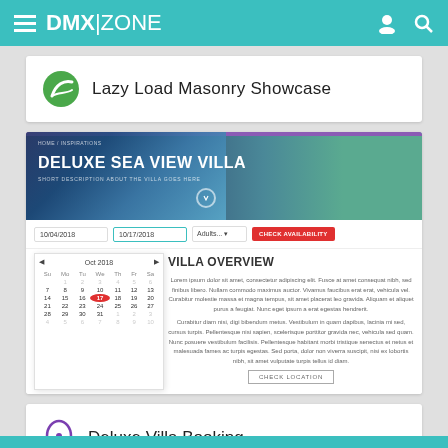DMX|ZONE
Lazy Load Masonry Showcase
[Figure (screenshot): Screenshot of a villa booking website showing a hero banner with 'DELUXE SEA VIEW VILLA', a date picker booking bar, a calendar popup showing Oct 2018 with date 12 highlighted in red, and lorem ipsum text content with a VILLA OVERVIEW section and a CHECK LOCATION button.]
Deluxe Villa Booking